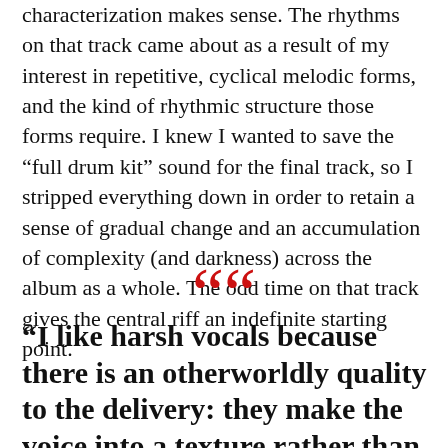characterization makes sense. The rhythms on that track came about as a result of my interest in repetitive, cyclical melodic forms, and the kind of rhythmic structure those forms require. I knew I wanted to save the “full drum kit” sound for the final track, so I stripped everything down in order to retain a sense of gradual change and an accumulation of complexity (and darkness) across the album as a whole. The odd time on that track gives the central riff an indefinite starting point.
“I like harsh vocals because there is an otherworldly quality to the delivery: they make the voice into a texture rather than